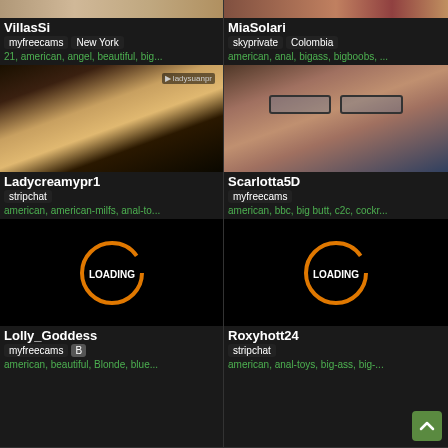[Figure (screenshot): Webcam screenshot top strip for VillasSi]
VillasSi
myfreecams  New York
21, american, angel, beautiful, big...
[Figure (screenshot): Webcam screenshot top strip for MiaSolari]
MiaSolari
skyprivate  Colombia
american, anal, bigass, bigboobs, ...
[Figure (photo): Webcam image for Ladycreamypr1 showing person in stockings]
Ladycreamypr1
stripchat
american, american-milfs, anal-to...
[Figure (photo): Webcam image for Scarlotta5D showing person with glasses]
Scarlotta5D
myfreecams
american, bbc, big butt, c2c, cockr...
[Figure (screenshot): Loading screen with orange circle for Lolly_Goddess]
Lolly_Goddess
myfreecams  B
american, beautiful, Blonde, blue...
[Figure (screenshot): Loading screen with orange circle for Roxyhott24]
Roxyhott24
stripchat
american, anal-toys, big-ass, big-...